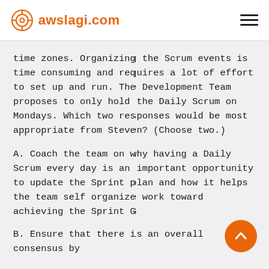awslagi.com
time zones. Organizing the Scrum events is time consuming and requires a lot of effort to set up and run. The Development Team proposes to only hold the Daily Scrum on Mondays. Which two responses would be most appropriate from Steven? (Choose two.)
A. Coach the team on why having a Daily Scrum every day is an important opportunity to update the Sprint plan and how it helps the team self organize work toward achieving the Sprint G
B. Ensure that there is an overall consensus by the Development Team on the sprint.